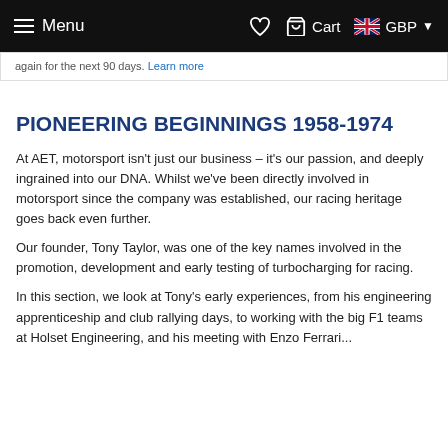Menu  Cart  GBP
again for the next 90 days. Learn more
PIONEERING BEGINNINGS 1958-1974
At AET, motorsport isn't just our business – it's our passion, and deeply ingrained into our DNA. Whilst we've been directly involved in motorsport since the company was established, our racing heritage goes back even further.
Our founder, Tony Taylor, was one of the key names involved in the promotion, development and early testing of turbocharging for racing.
In this section, we look at Tony's early experiences, from his engineering apprenticeship and club rallying days, to working with the big F1 teams at Holset Engineering, and his meeting with Enzo Ferrari...